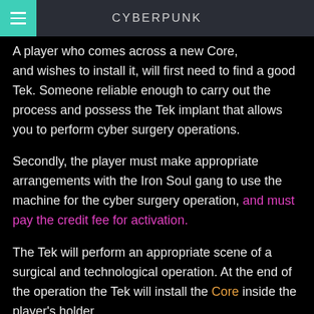CYBERPUNK
A player who comes across a new Core, and wishes to install it, will first need to find a good Tek. Someone reliable enough to carry out the process and possess the Tek implant that allows you to perform cyber surgery operations.
Secondly, the player must make appropriate arrangements with the Iron Soul gang to use the machine for the cyber surgery operation, and must pay the credit fee for activation.
The Tek will perform an appropriate scene of a surgical and technological operation. At the end of the operation the Tek will install the Core inside the player's holder.
The Tek will explain how to use the new augmentation.